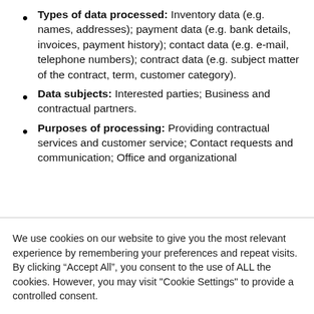Types of data processed: Inventory data (e.g. names, addresses); payment data (e.g. bank details, invoices, payment history); contact data (e.g. e-mail, telephone numbers); contract data (e.g. subject matter of the contract, term, customer category).
Data subjects: Interested parties; Business and contractual partners.
Purposes of processing: Providing contractual services and customer service; Contact requests and communication; Office and organizational
We use cookies on our website to give you the most relevant experience by remembering your preferences and repeat visits. By clicking “Accept All”, you consent to the use of ALL the cookies. However, you may visit "Cookie Settings" to provide a controlled consent.